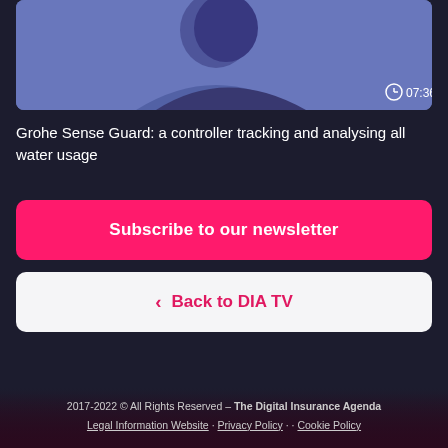[Figure (screenshot): Video thumbnail showing a person in front of a blue background, with a clock icon and duration 07:36 in the bottom right corner]
Grohe Sense Guard: a controller tracking and analysing all water usage
Subscribe to our newsletter
< Back to DIA TV
2017-2022 © All Rights Reserved – The Digital Insurance Agenda
Legal Information Website · Privacy Policy · · Cookie Policy